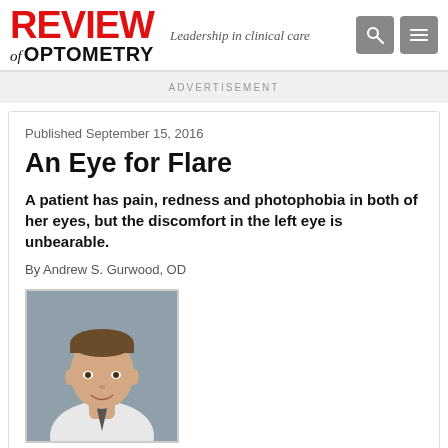REVIEW of OPTOMETRY — Leadership in clinical care
ADVERTISEMENT
Published September 15, 2016
An Eye for Flare
A patient has pain, redness and photophobia in both of her eyes, but the discomfort in the left eye is unbearable.
By Andrew S. Gurwood, OD
[Figure (photo): Headshot of Andrew S. Gurwood, OD — a man in a white shirt and tie, smiling, against a blue-grey background]